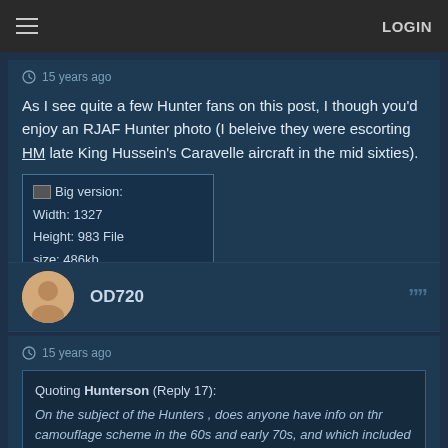LOGIN
15 years ago
As I see quite a few Hunter fans on this post, I though you'd enjoy an RJAF Hunter photo (I beleive they were escorting HM late King Hussein's Caravelle aircraft in the mid sixties).
[Figure (photo): Broken image placeholder: Big version: Width: 1327 Height: 983 File size: 486kb]
OD720
15 years ago
Quoting Hunterson (Reply 17): On the subject of the Hunters , does anyone have info on thr camouflage scheme in the 60s and early 70s, and which included red tailplanes and noses?
You probably mean this one: